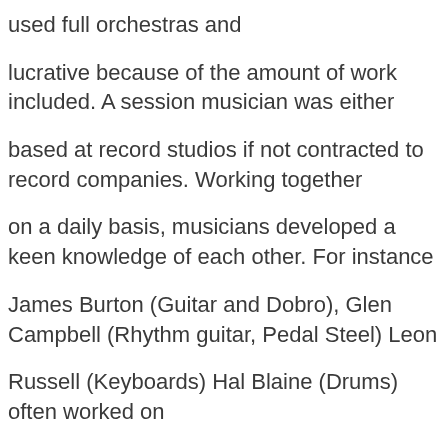used full orchestras and
lucrative because of the amount of work included. A session musician was either
based at record studios if not contracted to record companies. Working together
on a daily basis, musicians developed a keen knowledge of each other. For instance
James Burton (Guitar and Dobro), Glen Campbell (Rhythm guitar, Pedal Steel) Leon
Russell (Keyboards) Hal Blaine (Drums) often worked on